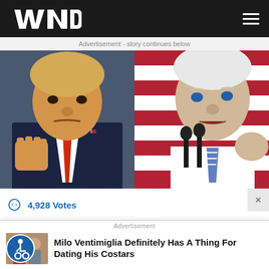WND
Advertisement - story continues below
[Figure (photo): Side-by-side photo of Donald Trump raising a fist on the left, and Joe Biden speaking at a microphone on the right with an American flag background]
4,928 Votes
Has President Biden...
Advertisement
Milo Ventimiglia Definitely Has A Thing For Dating His Costars